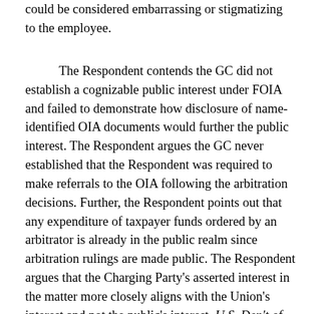could be considered embarrassing or stigmatizing to the employee.
The Respondent contends the GC did not establish a cognizable public interest under FOIA and failed to demonstrate how disclosure of name-identified OIA documents would further the public interest. The Respondent argues the GC never established that the Respondent was required to make referrals to the OIA following the arbitration decisions. Further, the Respondent points out that any expenditure of taxpayer funds ordered by an arbitrator is already in the public realm since arbitration rulings are made public. The Respondent argues that the Charging Party's asserted interest in the matter more closely aligns with the Union's interest and not the public's interest. U.S. Dep't of Transp., FAA, N.Y. TRACON, Westbury, N.Y., 50 FLRA 338, 344-49 (1995). The Respondent argues that the public's limited interest in disclosure of the documents does not outweigh the employee's substantial privacy interests in the OIA documents.